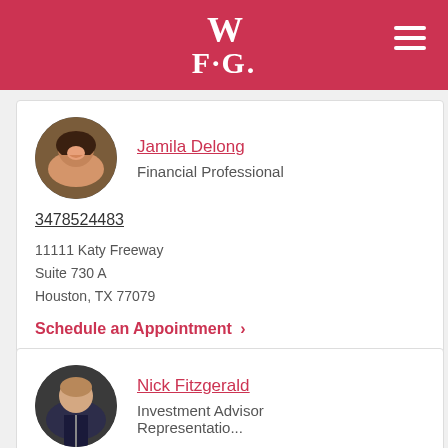WFG
[Figure (photo): Jamila Delong profile photo - woman smiling]
Jamila Delong
Financial Professional
3478524483
11111 Katy Freeway
Suite 730 A
Houston, TX 77079
Schedule an Appointment >
[Figure (photo): Nick Fitzgerald profile photo - man in suit]
Nick Fitzgerald
Investment Advisor
Representative